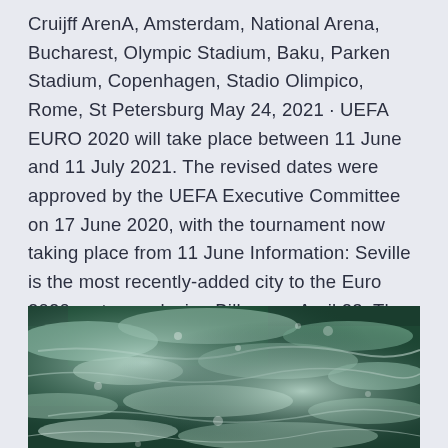Cruijff ArenA, Amsterdam, National Arena, Bucharest, Olympic Stadium, Baku, Parken Stadium, Copenhagen, Stadio Olimpico, Rome, St Petersburg May 24, 2021 · UEFA EURO 2020 will take place between 11 June and 11 July 2021. The revised dates were approved by the UEFA Executive Committee on 17 June 2020, with the tournament now taking place from 11 June Information: Seville is the most recently-added city to the Euro 2020 roster, replacing Bilbao on April 23. The venue in Andalusia will now play host to all of Spain's group matches.
[Figure (photo): Aerial or close-up photograph of ocean waves with dark green water and white foam/surf patterns.]